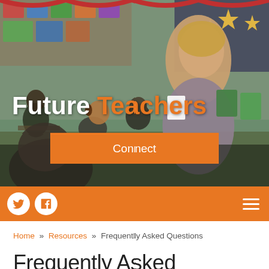[Figure (photo): Classroom scene with a smiling female teacher standing in front of students at desks, colorful bulletin boards in background. Overlay text reads 'Future Teachers' with white and orange text. An orange 'Connect' button is visible in the lower center of the image.]
Navigation bar with Twitter and Facebook social icons on left, hamburger menu icon on right, orange background
Home » Resources » Frequently Asked Questions
Frequently Asked Questions
Q. Do I join the Institute?